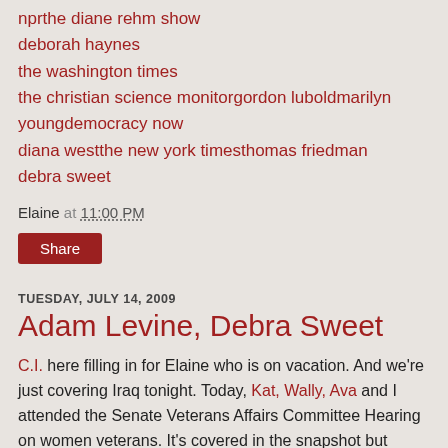nprthe diane rehm show
deborah haynes
the washington times
the christian science monitorgordon luboldmarilyn youngdemocracy now
diana westthe new york timesthomas friedman
debra sweet
Elaine at 11:00 PM
Share
TUESDAY, JULY 14, 2009
Adam Levine, Debra Sweet
C.I. here filling in for Elaine who is on vacation. And we're just covering Iraq tonight. Today, Kat, Wally, Ava and I attended the Senate Veterans Affairs Committee Hearing on women veterans. It's covered in the snapshot but Adam Levine's "Veterans' facilities fall short in women's treatment standards" (CNN) does a pretty solid job so I want to note that